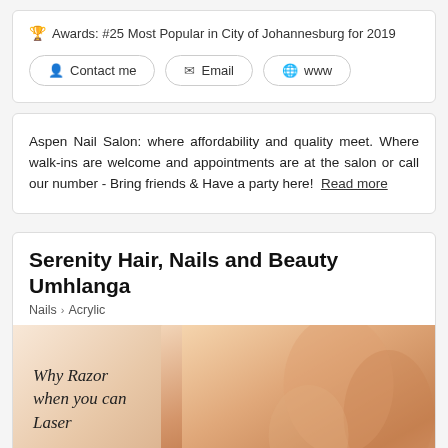Awards: #25 Most Popular in City of Johannesburg for 2019
Contact me  Email  www
Aspen Nail Salon: where affordability and quality meet. Where walk-ins are welcome and appointments are at the salon or call our number - Bring friends & Have a party here!  Read more
Serenity Hair, Nails and Beauty Umhlanga
Nails > Acrylic
[Figure (photo): Promotional image with italic script text reading 'Why Razor when you can Laser' overlaid on a photo of smooth legs/skin, light peach and warm beige tones.]